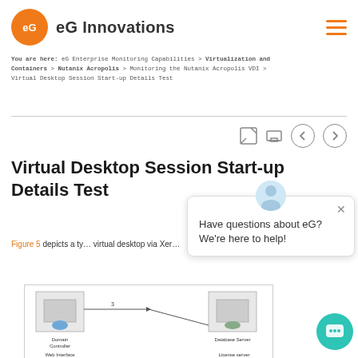eG Innovations
You are here: eG Enterprise Monitoring Capabilities > Virtualization and Containers > Nutanix Acropolis > Monitoring the Nutanix Acropolis VDI > Virtual Desktop Session Start-up Details Test
Virtual Desktop Session Start-up Details Test
Figure 5 depicts a typical sequence of events that occur when a user launches a virtual desktop via Xer...
[Figure (network-graph): Diagram showing Domain Controller, Database Server, Web Interface, License server with connecting arrows]
Have questions about eG? We're here to help!